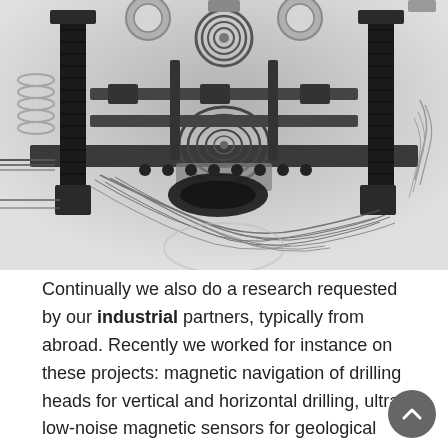[Figure (photo): X-ray/radiograph image of electronic/mechanical assembly showing bolts, coils, circuit components, and wiring — shown in grayscale with high contrast typical of X-ray imaging]
Continually we also do a research requested by our industrial partners, typically from abroad. Recently we worked for instance on these projects: magnetic navigation of drilling heads for vertical and horizontal drilling, ultra-low-noise magnetic sensors for geological prospection, integrated fluxgate sensors or development of ultra-stable current sources for specific